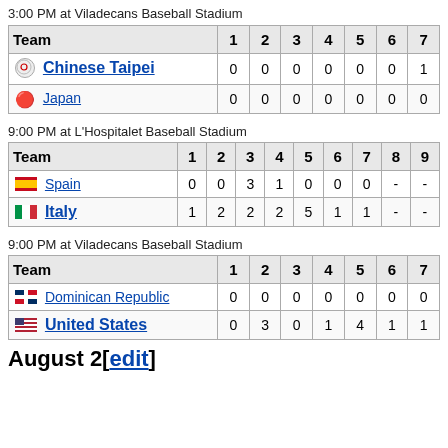3:00 PM at Viladecans Baseball Stadium
| Team | 1 | 2 | 3 | 4 | 5 | 6 | 7 |
| --- | --- | --- | --- | --- | --- | --- | --- |
| Chinese Taipei | 0 | 0 | 0 | 0 | 0 | 0 | 1 |
| Japan | 0 | 0 | 0 | 0 | 0 | 0 | 0 |
9:00 PM at L'Hospitalet Baseball Stadium
| Team | 1 | 2 | 3 | 4 | 5 | 6 | 7 | 8 | 9 |
| --- | --- | --- | --- | --- | --- | --- | --- | --- | --- |
| Spain | 0 | 0 | 3 | 1 | 0 | 0 | 0 | - | - |
| Italy | 1 | 2 | 2 | 2 | 5 | 1 | 1 | - | - |
9:00 PM at Viladecans Baseball Stadium
| Team | 1 | 2 | 3 | 4 | 5 | 6 | 7 |
| --- | --- | --- | --- | --- | --- | --- | --- |
| Dominican Republic | 0 | 0 | 0 | 0 | 0 | 0 | 0 |
| United States | 0 | 3 | 0 | 1 | 4 | 1 | 1 |
August 2[edit]